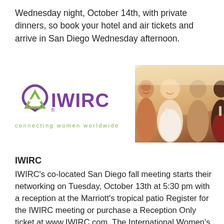Wednesday night, October 14th, with private dinners, so book your hotel and air tickets and arrive in San Diego Wednesday afternoon.
[Figure (logo): IWIRC logo with purple triangle/heart symbol and purple text 'IWIRC' with registered trademark, green tagline 'connecting women worldwide']
[Figure (photo): Photo of four women smiling and celebrating together, holding drinks, at an event]
IWIRC
IWIRC's co-located San Diego fall meeting starts their networking on Tuesday, October 13th at 5:30 pm with a reception at the Marriott's tropical patio Register for the IWIRC meeting or purchase a Reception Only ticket at www.IWIRC.com. The International Women's Insolvency & Restructuring Confederation is an organization committed to the connection, promotion and success of